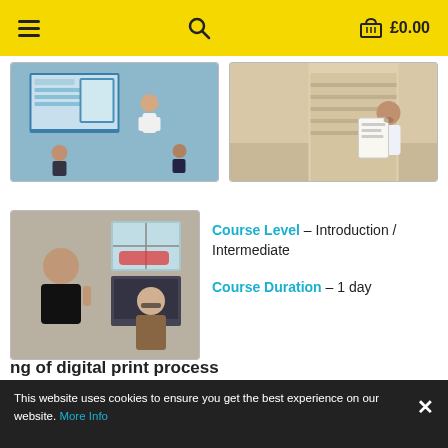≡  🔍  🛒 £0.00
[Figure (photo): Training session photo: instructor at whiteboard with screens showing data, attendees at computers]
[Figure (photo): Training session photo: instructor presenting printed materials to attendees]
[Figure (photo): Training session photo: two people reviewing content at a computer workstation]
Course Level – Introduction / Intermediate
Course Duration – 1 day
Course Cost – £125 ex VAT (Included f.o.c. with new Roland printer purchases)
...ng of digital print process
This website uses cookies to ensure you get the best experience on our website. More Info ✕